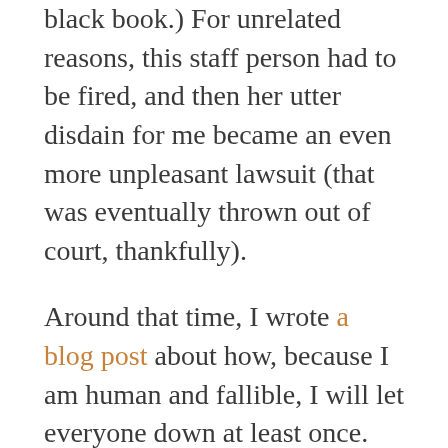black book.) For unrelated reasons, this staff person had to be fired, and then her utter disdain for me became an even more unpleasant lawsuit (that was eventually thrown out of court, thankfully).
Around that time, I wrote a blog post about how, because I am human and fallible, I will let everyone down at least once. That's the way of any parent/teacher/leader/human – we make mistakes. As I said in that post